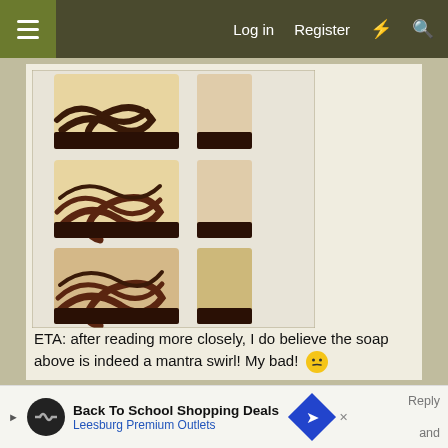Log in  Register
[Figure (photo): Six bars of handmade soap with swirl patterns in cream and dark brown/black colors, arranged in two columns on a white textured surface. Three soaps in the left column and partial soaps visible on the right.]
ETA: after reading more closely, I do believe the soap above is indeed a mantra swirl! My bad! 😶
Last edited: May 17, 2022
[Figure (infographic): Advertisement banner: Back To School Shopping Deals - Leesburg Premium Outlets, with infinity logo and blue diamond arrow icon.]